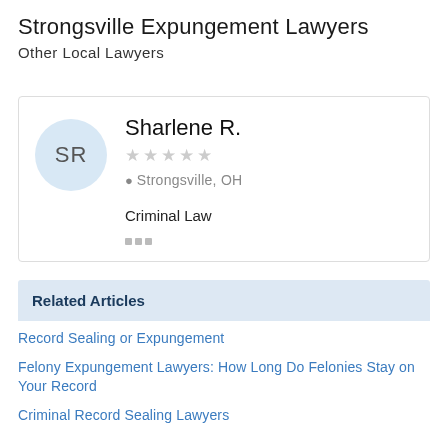Strongsville Expungement Lawyers
Other Local Lawyers
SR
Sharlene R.
★★★★★ (no rating)
Strongsville, OH
Criminal Law
Related Articles
Record Sealing or Expungement
Felony Expungement Lawyers: How Long Do Felonies Stay on Your Record
Criminal Record Sealing Lawyers